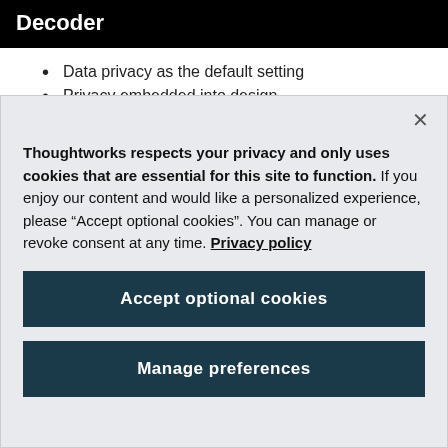Decoder
Data privacy as the default setting
Privacy embedded into design
Thoughtworks respects your privacy and only uses cookies that are essential for this site to function. If you enjoy our content and would like a personalized experience, please “Accept optional cookies”. You can manage or revoke consent at any time. Privacy policy
Accept optional cookies
Manage preferences